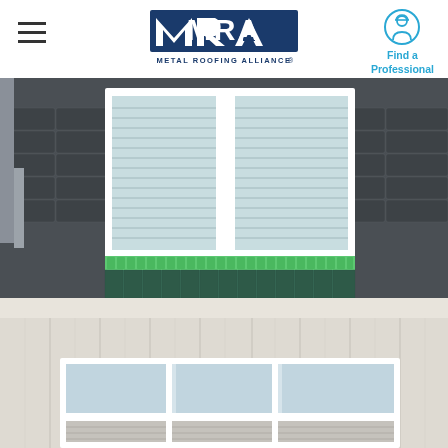Metal Roofing Alliance — Find a Professional
[Figure (photo): Close-up photo of a house exterior showing dark grey metal roofing tiles, a double white-framed window with horizontal blinds, green foam flashing tape visible at window base, and lower section showing white-framed transom windows and white bead-board porch ceiling]